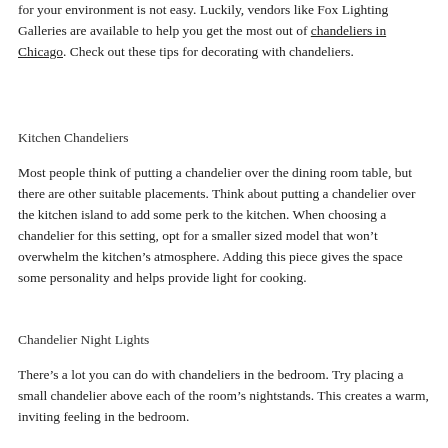for your environment is not easy. Luckily, vendors like Fox Lighting Galleries are available to help you get the most out of chandeliers in Chicago. Check out these tips for decorating with chandeliers.
Kitchen Chandeliers
Most people think of putting a chandelier over the dining room table, but there are other suitable placements. Think about putting a chandelier over the kitchen island to add some perk to the kitchen. When choosing a chandelier for this setting, opt for a smaller sized model that won’t overwhelm the kitchen’s atmosphere. Adding this piece gives the space some personality and helps provide light for cooking.
Chandelier Night Lights
There’s a lot you can do with chandeliers in the bedroom. Try placing a small chandelier above each of the room’s nightstands. This creates a warm, inviting feeling in the bedroom. It also provides a unique twist to the nightstand and lamp look.
Bathroom Lighting Ideas